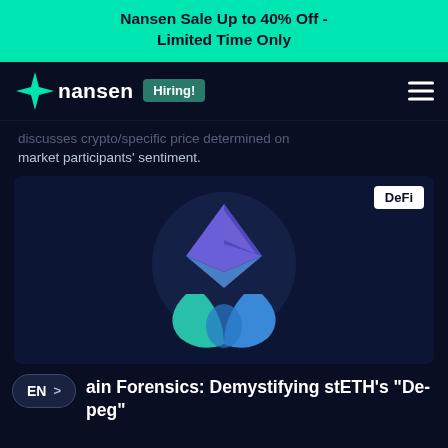Nansen Sale Up to 40% Off - Limited Time Only
[Figure (logo): Nansen logo with teal diamond star icon and 'nansen' wordmark, plus a 'Hiring!' badge and hamburger menu icon on the right]
...discusses crypto/specific price determined on market participants' sentiment.
[Figure (illustration): Dark blue card with 'DeFi' badge in top right and a stylized Ethereum/liquid staking logo — a blue-teal water drop combined with the Ethereum diamond shape]
EN > ...ain Forensics: Demystifying stETH's "De- peg"